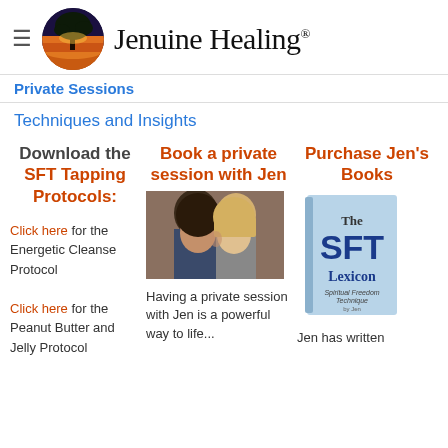Jenuine Healing®
Private Sessions
Techniques and Insights
Download the SFT Tapping Protocols:
Book a private session with Jen
Purchase Jen's Books
Click here for the Energetic Cleanse Protocol
Click here for the Peanut Butter and Jelly Protocol
[Figure (photo): Two people in a private session, one with dark hair and one with blonde hair, leaning close together]
Having a private session with Jen is a powerful way to life...
[Figure (photo): Book cover: The SFT Lexicon, Spiritual Freedom Technique, by Jen]
Jen has written